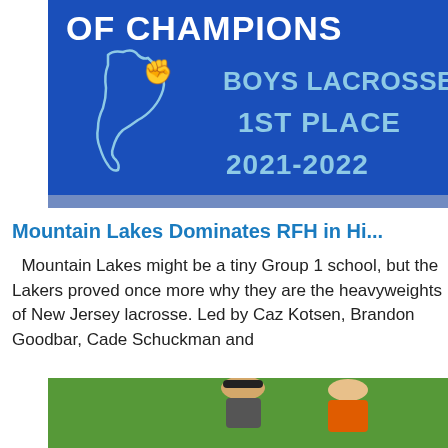[Figure (photo): Blue championship banner/sign reading 'OF CHAMPIONS' with an outline of New Jersey state and text 'BOYS LACROSSE 1ST PLACE 2021-2022' in light blue/white lettering on a dark blue background.]
Mountain Lakes Dominates RFH in Hi...
Mountain Lakes might be a tiny Group 1 school, but the Lakers proved once more why they are the heavyweights of New Jersey lacrosse. Led by Caz Kotsen, Brandon Goodbar, Cade Schuckman and
[Figure (photo): Two people standing on a green grass field. One person wearing a dark cap and the other wearing an orange shirt/jersey.]